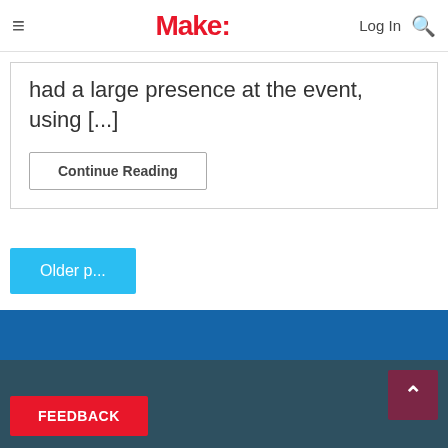Make: | Log In
had a large presence at the event, using [...]
Continue Reading
Older p...
[Figure (screenshot): Blue horizontal stripe banner area]
[Figure (screenshot): Dark teal footer area with back-to-top button (caret up)]
FEEDBACK